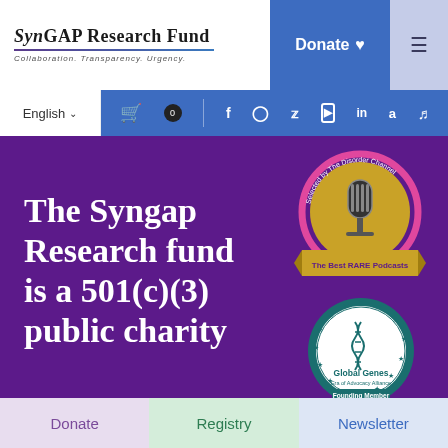[Figure (logo): SynGAP Research Fund logo with tagline: Collaboration. Transparency. Urgency.]
Donate
English
[Figure (infographic): Social media icons bar: cart, badge, Facebook, Instagram, Twitter, YouTube, LinkedIn, Amazon, TikTok]
[Figure (infographic): Selected by The Disorder Channel - The Best RARE Podcasts badge with microphone graphic]
The Syngap Research fund is a 501(c)(3) public charity
[Figure (infographic): Global Genes Founding Member badge - teal circular badge]
Donate
Registry
Newsletter